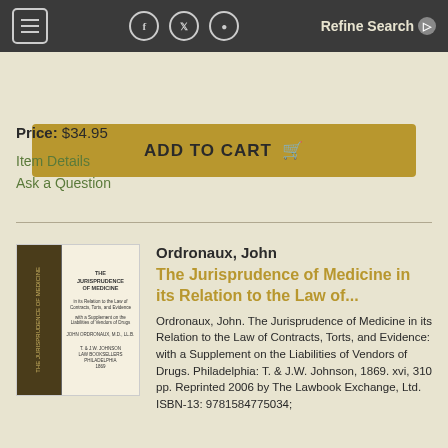Navigation bar with hamburger menu, social icons (Facebook, Twitter, Instagram), and Refine Search button
ADD TO CART
Price: $34.95
Item Details
Ask a Question
[Figure (photo): Book image showing spine and title page of 'The Jurisprudence of Medicine']
Ordronaux, John
The Jurisprudence of Medicine in its Relation to the Law of...
Ordronaux, John. The Jurisprudence of Medicine in its Relation to the Law of Contracts, Torts, and Evidence: with a Supplement on the Liabilities of Vendors of Drugs. Philadelphia: T. & J.W. Johnson, 1869. xvi, 310 pp. Reprinted 2006 by The Lawbook Exchange, Ltd. ISBN-13: 9781584775034;